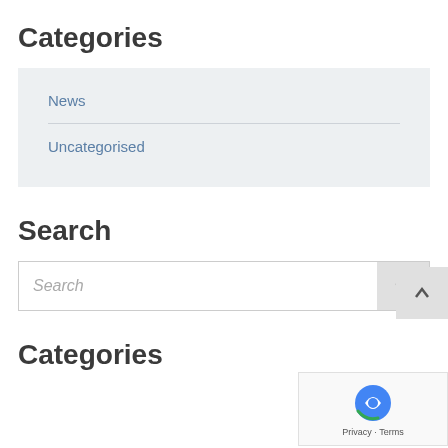Categories
News
Uncategorised
Search
[Figure (screenshot): Search input box with search button]
Categories
[Figure (logo): reCAPTCHA badge with Privacy and Terms links]